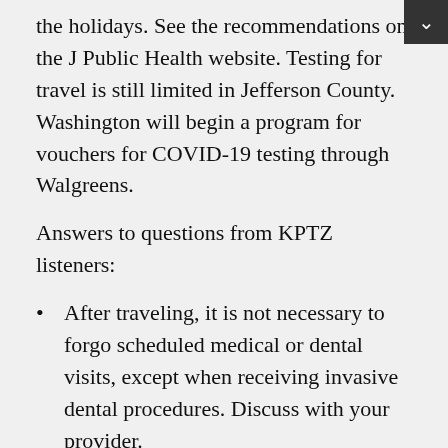the holidays. See the recommendations on the J Public Health website. Testing for travel is still limited in Jefferson County. Washington will begin a program for vouchers for COVID-19 testing through Walgreens.
Answers to questions from KPTZ listeners:
After traveling, it is not necessary to forgo scheduled medical or dental visits, except when receiving invasive dental procedures. Discuss with your provider.
Suicides are thought to rise during the holidays, when in fact, they do not. What does increase is drinking, anxiety and drug use.
COVID... (continues)